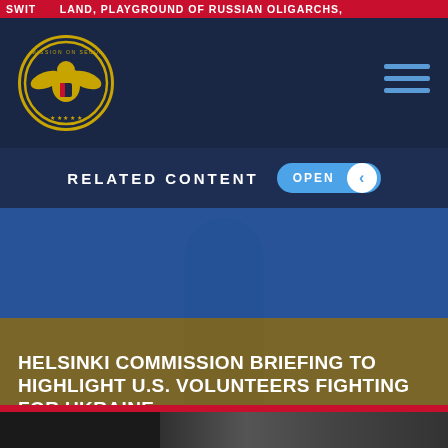SWITZERLAND, PLAYGROUND OF RUSSIAN OLIGARCHS,
[Figure (logo): Commission on Security and Cooperation in Europe seal/logo — circular gold eagle emblem on dark navy background]
RELATED CONTENT
[Figure (photo): Hero image showing Ukrainian flag colors — top half blue, bottom half golden/yellow — with a silhouetted figure in the background]
HELSINKI COMMISSION BRIEFING TO HIGHLIGHT U.S. VOLUNTEERS FIGHTING FOR UKRAINE
TUESDAY, JULY 12, 2022